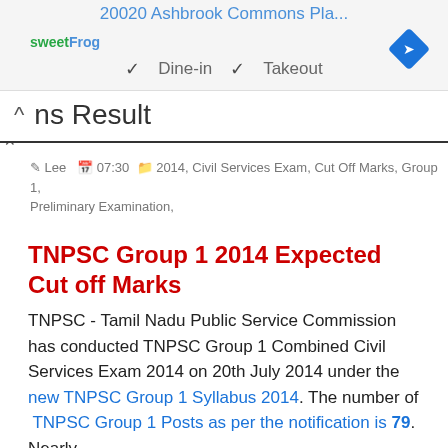20020 Ashbrook Commons Pla...
[Figure (screenshot): Sweet Frog logo and navigation diamond icon; Dine-in and Takeout checkmarks shown in a map/listing UI]
ns Result
Lee  07:30  2014, Civil Services Exam, Cut Off Marks, Group 1, Preliminary Examination,
TNPSC Group 1 2014 Expected Cut off Marks
TNPSC - Tamil Nadu Public Service Commission has conducted TNPSC Group 1 Combined Civil Services Exam 2014 on 20th July 2014 under the new TNPSC Group 1 Syllabus 2014. The number of TNPSC Group 1 Posts as per the notification is 79. Nearly